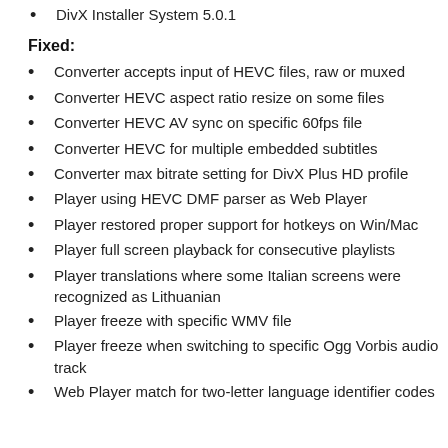DivX Installer System 5.0.1
Fixed:
Converter accepts input of HEVC files, raw or muxed
Converter HEVC aspect ratio resize on some files
Converter HEVC AV sync on specific 60fps file
Converter HEVC for multiple embedded subtitles
Converter max bitrate setting for DivX Plus HD profile
Player using HEVC DMF parser as Web Player
Player restored proper support for hotkeys on Win/Mac
Player full screen playback for consecutive playlists
Player translations where some Italian screens were recognized as Lithuanian
Player freeze with specific WMV file
Player freeze when switching to specific Ogg Vorbis audio track
Web Player match for two-letter language identifier codes